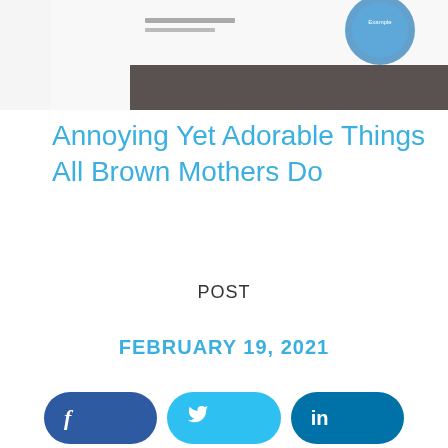[Figure (screenshot): Partial view of a Microsoft Certified certificate with a blue seal, signature, and Microsoft Certified branding on a light/grey background.]
Annoying Yet Adorable Things All Brown Mothers Do
POST
FEBRUARY 19, 2021
[Figure (infographic): Social sharing buttons: Facebook (dark blue), Twitter (light blue), LinkedIn (dark blue), Pinterest (red)]